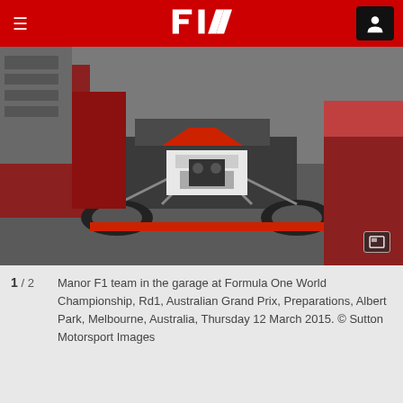F1 — Formula One World Championship
[Figure (photo): Manor F1 team mechanics working on a Formula 1 car in the garage. The car's front suspension and chassis are visible. Mechanics wearing red uniforms are around the car.]
1 / 2  Manor F1 team in the garage at Formula One World Championship, Rd1, Australian Grand Prix, Preparations, Albert Park, Melbourne, Australia, Thursday 12 March 2015. © Sutton Motorsport Images